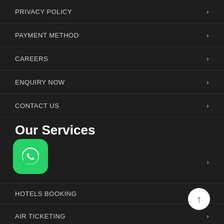PRIVACY POLICY
PAYMENT METHOD
CAREERS
ENQUIRY NOW
CONTACT US
Our Services
R
[Figure (logo): WhatsApp green rounded square icon with white phone handset in speech bubble]
HOTELS BOOKING
AIR TICKETING
[Figure (other): White circular scroll-to-top button with blue upward arrow]